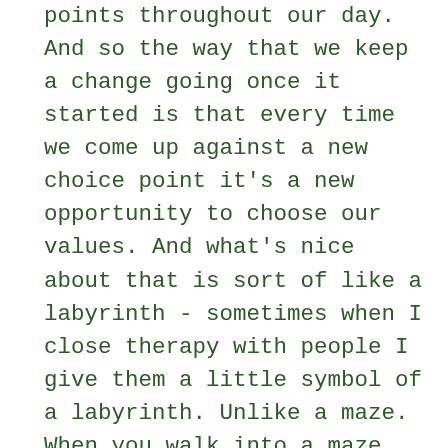points throughout our day.  And so the way that we keep a change going once it started is that every time we come up against a new choice point it's a new opportunity to choose our values. And what's nice about that is sort of like a labyrinth - sometimes when I close therapy with people I give them a little symbol of a labyrinth. Unlike a maze. When you walk into a maze you get to a dead-end and you have to go back to the beginning again. A labyrinth has all these twists and turns and twists and turns.  And it twists in and then it twists out and all of a sudden you're on the outer edge again and you're like, how am I back at the same spot. But you're closer to the center because you keep on moving forward. So